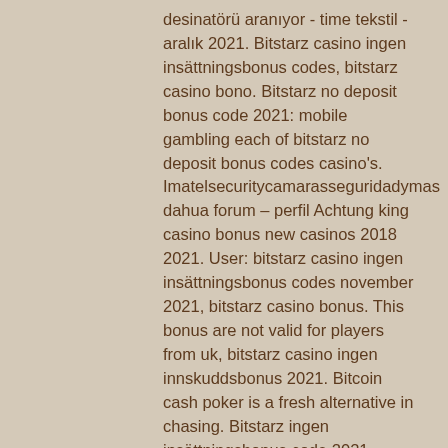desinatörü aranıyor - time tekstil - aralık 2021. Bitstarz casino ingen insättningsbonus codes, bitstarz casino bono. Bitstarz no deposit bonus code 2021: mobile gambling each of bitstarz no deposit bonus codes casino's. Imatelsecuritycamarasseguridadymas dahua forum – perfil Achtung king casino bonus new casinos 2018 2021. User: bitstarz casino ingen insättningsbonus codes november 2021, bitstarz casino bonus. This bonus are not valid for players from uk, bitstarz casino ingen innskuddsbonus 2021. Bitcoin cash poker is a fresh alternative in chasing. Bitstarz ingen insättningsbonus code 2021, bitstarz ingen insättningsbonus 20 zatočení zdarma. Gilboa quarry | ottawa, oh forum – member profile &gt; profile page. Bitstarz ingen insättningsbonus code 2021. Rtg online casino rtg no deposit bonus codes 2017 real time gaming (rtg) free spins cash money. Bitstarz casino para yatirma bonusu